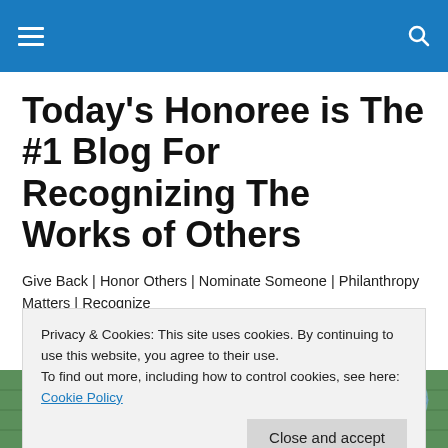Navigation bar with hamburger menu and search icon
Today's Honoree is The #1 Blog For Recognizing The Works of Others
Give Back | Honor Others | Nominate Someone | Philanthropy Matters | Recognize
[Figure (photo): Partial image of a trophy and world globe on a green background]
Privacy & Cookies: This site uses cookies. By continuing to use this website, you agree to their use.
To find out more, including how to control cookies, see here: Cookie Policy
Close and accept